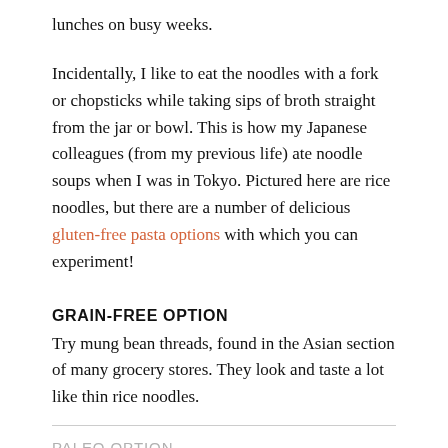lunches on busy weeks.
Incidentally, I like to eat the noodles with a fork or chopsticks while taking sips of broth straight from the jar or bowl. This is how my Japanese colleagues (from my previous life) ate noodle soups when I was in Tokyo. Pictured here are rice noodles, but there are a number of delicious gluten-free pasta options with which you can experiment!
GRAIN-FREE OPTION
Try mung bean threads, found in the Asian section of many grocery stores. They look and taste a lot like thin rice noodles.
PALEO OPTION